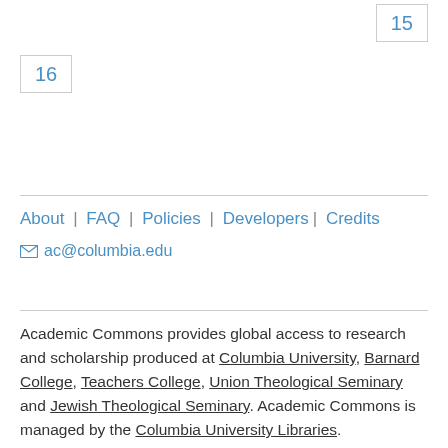15
16
About | FAQ | Policies | Developers | Credits
ac@columbia.edu
Academic Commons provides global access to research and scholarship produced at Columbia University, Barnard College, Teachers College, Union Theological Seminary and Jewish Theological Seminary. Academic Commons is managed by the Columbia University Libraries.